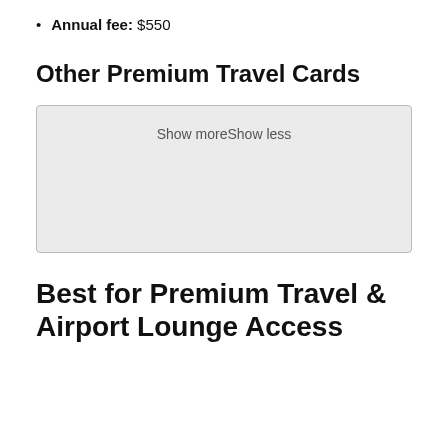Annual fee: $550
Other Premium Travel Cards
[Figure (other): A collapsed/expandable content box with 'Show moreShow less' toggle text, light gray background]
Best for Premium Travel & Airport Lounge Access